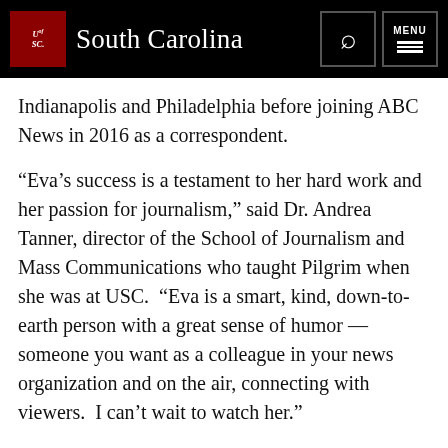University of South Carolina
Indianapolis and Philadelphia before joining ABC News in 2016 as a correspondent.
“Eva’s success is a testament to her hard work and her passion for journalism,” said Dr. Andrea Tanner, director of the School of Journalism and Mass Communications who taught Pilgrim when she was at USC.  “Eva is a smart, kind, down-to-earth person with a great sense of humor — someone you want as a colleague in your news organization and on the air, connecting with viewers.  I can’t wait to watch her.”
With ABC, Pilgrim has covered breaking stories such as the 2017 protests in Charlottesville, Minnesota’s reaction to Prince’s death, and the investigation of his death that